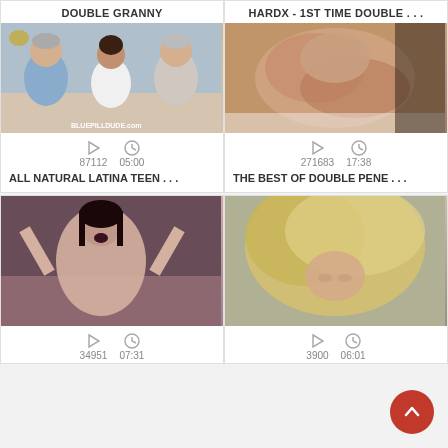DOUBLE GRANNY
[Figure (screenshot): Video thumbnail showing two older men and a young woman seated on a couch, watermark BLUEPILLDUDE.com]
87112   05:00
ALL NATURAL LATINA TEEN . . .
HARDX - 1ST TIME DOUBLE . . .
[Figure (screenshot): Video thumbnail showing explicit adult content]
271683   17:38
THE BEST OF DOUBLE PENE . . .
[Figure (screenshot): Video thumbnail showing adult content with dark-haired woman]
34951   07:31
[Figure (screenshot): Video thumbnail showing adult content with blonde]
3900   06:01